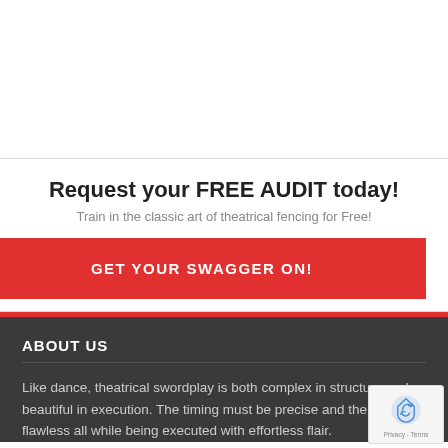Request your FREE AUDIT today!
Train in the classic art of theatrical fencing for Free!
GET YOUR SWAGGER ON!
ABOUT US
Like dance, theatrical swordplay is both complex in structure and beautiful in execution. The timing must be precise and the form flawless all while being executed with effortless flair.